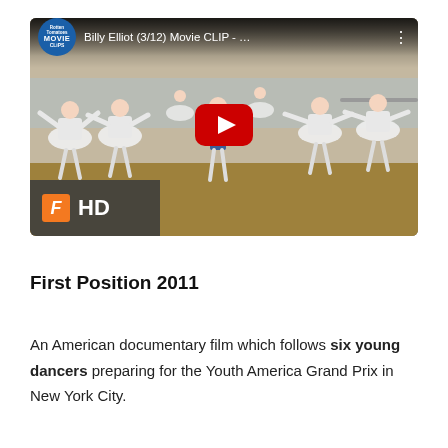[Figure (screenshot): YouTube video thumbnail showing a scene from Billy Elliot (3/12) Movie CLIP with ballet dancers in white tutus in a dance hall. A Fandango MovieClips logo appears in the top-left corner, a YouTube play button overlay is centered, and an HD badge with Fandango F logo appears in the bottom-left corner.]
First Position 2011
An American documentary film which follows six young dancers preparing for the Youth America Grand Prix in New York City.